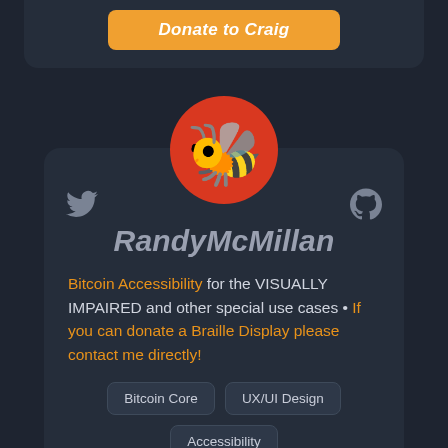[Figure (other): Orange donate button reading 'Donate to Craig' in bold italic white text on an orange rounded rectangle]
[Figure (other): Profile card with bee emoji avatar on red circle background, Twitter and GitHub icons, username RandyMcMillan, bio text about Bitcoin Accessibility, and tag pills]
RandyMcMillan
Bitcoin Accessibility for the VISUALLY IMPAIRED and other special use cases • If you can donate a Braille Display please contact me directly!
Bitcoin Core
UX/UI Design
Accessibility
Visually Impaired
Dislexia
Lightning
Plebnet